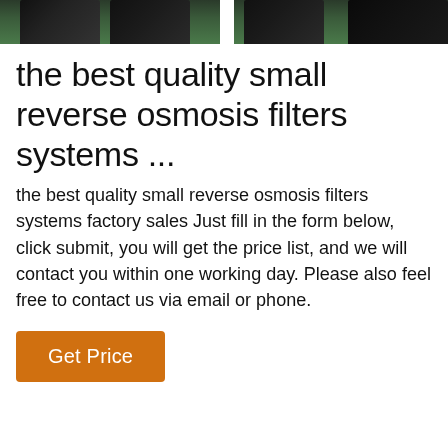[Figure (photo): Two side-by-side photos of industrial equipment (dark cylindrical filter systems) against a greenish floor background, cropped at top]
the best quality small reverse osmosis filters systems ...
the best quality small reverse osmosis filters systems factory sales Just fill in the form below, click submit, you will get the price list, and we will contact you within one working day. Please also feel free to contact us via email or phone.
Get Price